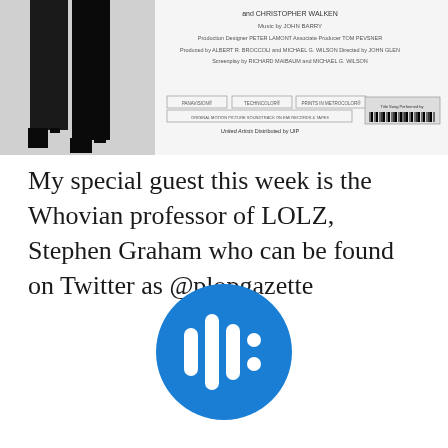[Figure (photo): Bottom portion of a movie poster showing legs in black stockings and heels, with movie credits text including Christopher Walken, John Barry, Peter Lamont, Tom Pevsner, Albert R. Broccoli, Michael G. Wilson, John Glen, Richard Maibaum, United Artists]
My special guest this week is the Whovian professor of LOLZ, Stephen Graham who can be found on Twitter as @plopgazette
[Figure (logo): Podcast/audio app logo: blue circle with white vertical bars of varying heights forming a waveform/equalizer pattern with two dots on the right side]